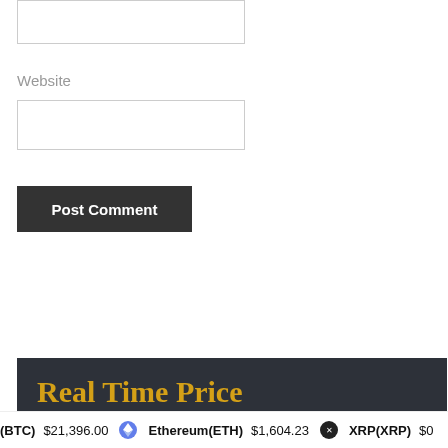[Figure (screenshot): Empty text input box at top of form]
Website
[Figure (screenshot): Website text input box]
Post Comment
Real Time Price
(BTC) $21,396.00  Ethereum(ETH) $1,604.23  XRP(XRP) $0...